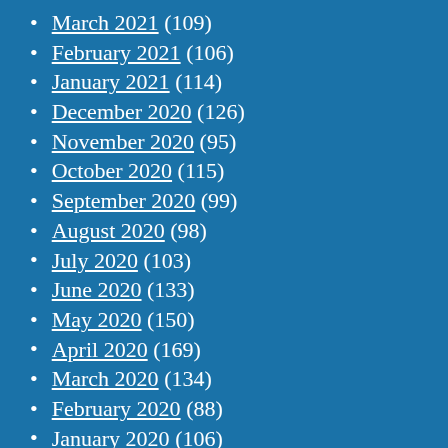March 2021 (109)
February 2021 (106)
January 2021 (114)
December 2020 (126)
November 2020 (95)
October 2020 (115)
September 2020 (99)
August 2020 (98)
July 2020 (103)
June 2020 (133)
May 2020 (150)
April 2020 (169)
March 2020 (134)
February 2020 (88)
January 2020 (106)
December 2019 (95)
November 2019 (73)